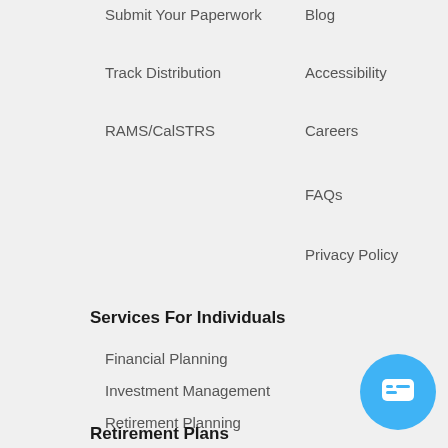Submit Your Paperwork
Blog
Track Distribution
Accessibility
RAMS/CalSTRS
Careers
FAQs
Privacy Policy
Services For Individuals
Financial Planning
Investment Management
Retirement Planning
Tax Planning and Preparation
Estate Planning
Retirement Plans